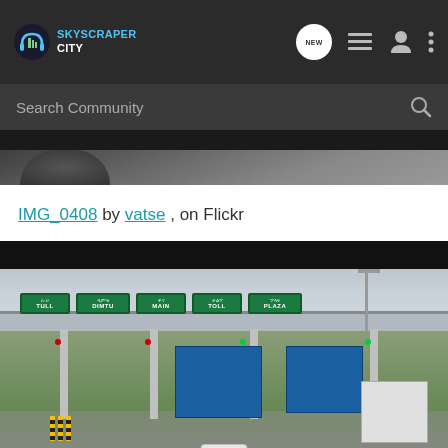SkyscraperCity
IMG_0408 by vatse, on Flickr
[Figure (photo): Toll plaza with green signs reading TULL, DIMTU, MAIN, TOLL, PLAZA with Amharic text, trucks passing through toll booths, grey canopy overhead, overcast sky]
[Figure (photo): Partial view of upper photo strip — interior of car looking out windshield]